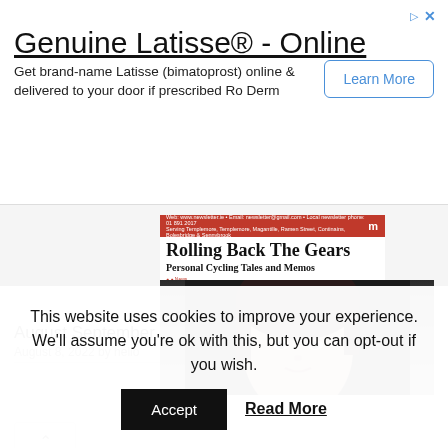[Figure (screenshot): Advertisement banner for Genuine Latisse (bimatoprost) online service with Learn More button]
Genuine Latisse® - Online
Get brand-name Latisse (bimatoprost) online & delivered to your door if prescribed Ro Derm
[Figure (photo): Thumbnail of newspaper front page titled Rolling Back The Gears - Personal Cycling Tales and Memos showing street scene with brick buildings]
August September Issue Out Now
August 8, 2022 by hello
[Figure (photo): Partial photo of a woman's face with dark hair looking into camera]
This website uses cookies to improve your experience. We'll assume you're ok with this, but you can opt-out if you wish.